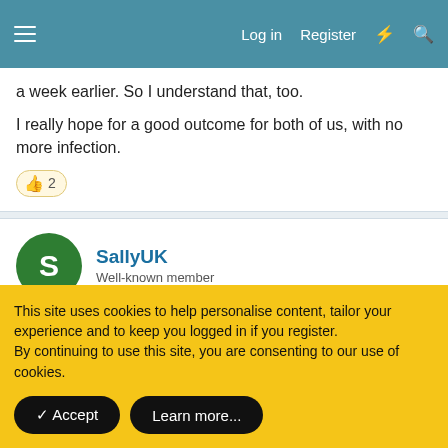Log in  Register
a week earlier. So I understand that, too.
I really hope for a good outcome for both of us, with no more infection.
👍 2
SallyUK
Well-known member
Mar 18, 2019  #13
This site uses cookies to help personalise content, tailor your experience and to keep you logged in if you register.
By continuing to use this site, you are consenting to our use of cookies.